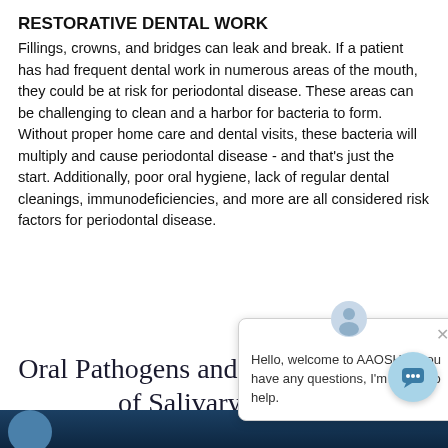RESTORATIVE DENTAL WORK
Fillings, crowns, and bridges can leak and break. If a patient has had frequent dental work in numerous areas of the mouth, they could be at risk for periodontal disease. These areas can be challenging to clean and a harbor for bacteria to form. Without proper home care and dental visits, these bacteria will multiply and cause periodontal disease - and that's just the start. Additionally, poor oral hygiene, lack of regular dental cleanings, immunodeficiencies, and more are all considered risk factors for periodontal disease.
[Figure (screenshot): Chat popup overlay with avatar icon, close button (×), and message: Hello, welcome to AAOSH! If you have any questions, I'm happy to help.]
Oral Pathogens and the Critical Role of Salivary Testing
[Figure (photo): Dark blue colored bottom strip with a partial circular photo element on the left side]